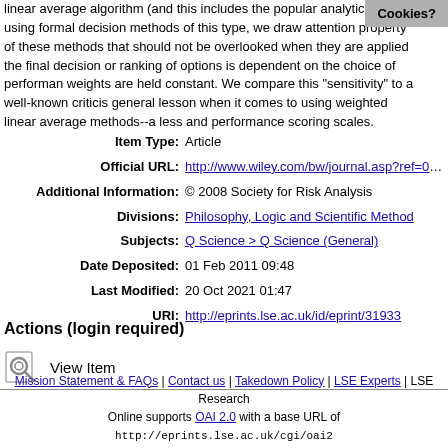linear average algorithm (and this includes the popular analytic h of using formal decision methods of this type, we draw attention property of these methods that should not be overlooked when they are applied the final decision or ranking of options is dependent on the choice of performan weights are held constant. We compare this "sensitivity" to a well-known criticis general lesson when it comes to using weighted linear average methods--a less and performance scoring scales.
| Item Type: | Article |
| Official URL: | http://www.wiley.com/bw/journal.asp?ref=0272-4332 |
| Additional Information: | © 2008 Society for Risk Analysis |
| Divisions: | Philosophy, Logic and Scientific Method |
| Subjects: | Q Science > Q Science (General) |
| Date Deposited: | 01 Feb 2011 09:48 |
| Last Modified: | 20 Oct 2021 01:47 |
| URI: | http://eprints.lse.ac.uk/id/eprint/31933 |
Actions (login required)
View Item
Mission Statement & FAQs | Contact us | Takedown Policy | LSE Experts | LSE Research Online supports OAI 2.0 with a base URL of http://eprints.lse.ac.uk/cgi/oai2